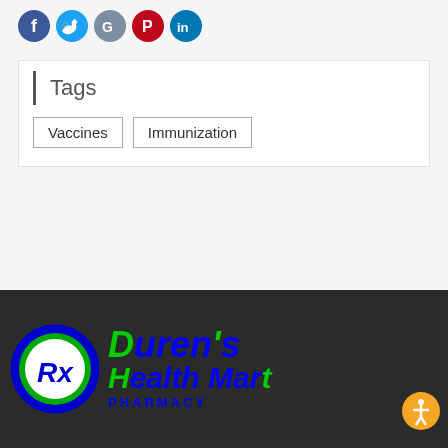[Figure (infographic): Social media share icons: Facebook (blue), Twitter (light blue), Google (grey/blue), Pinterest (red), LinkedIn (blue), arranged in a row]
Tags
Vaccines   Immunization
[Figure (logo): Duren's Health Mart Pharmacy logo with green Rx circle emblem and blue/green stylized text on dark background]